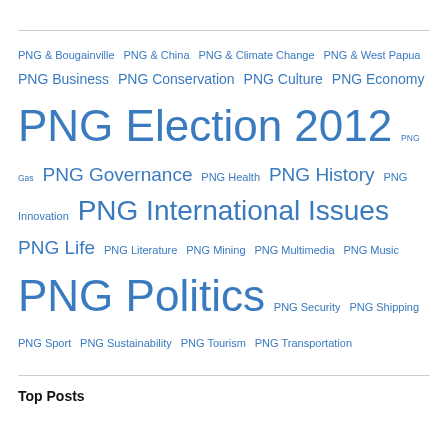PNG & Bougainville  PNG & China  PNG & Climate Change  PNG & West Papua  PNG Business  PNG Conservation  PNG Culture  PNG Economy  PNG Election 2012  PNG Gas  PNG Governance  PNG Health  PNG History  PNG Innovation  PNG International Issues  PNG Life  PNG Literature  PNG Mining  PNG Multimedia  PNG Music  PNG Politics  PNG Security  PNG Shipping  PNG Sport  PNG Sustainability  PNG Tourism  PNG Transportation
Top Posts